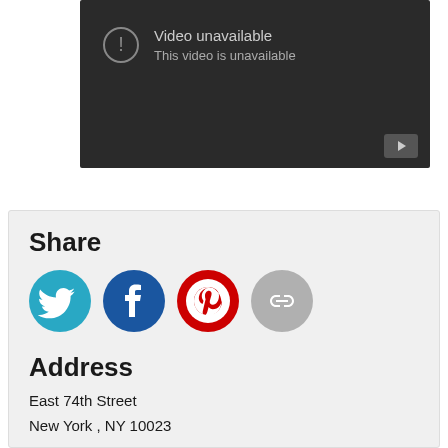[Figure (screenshot): Embedded video player showing 'Video unavailable - This video is unavailable' error message on dark background with YouTube play button icon]
Share
[Figure (infographic): Social share icons: Twitter (teal bird), Facebook (blue f), Pinterest (red P), and a grey chain/link icon]
Address
East 74th Street
New York , NY 10023
Tags